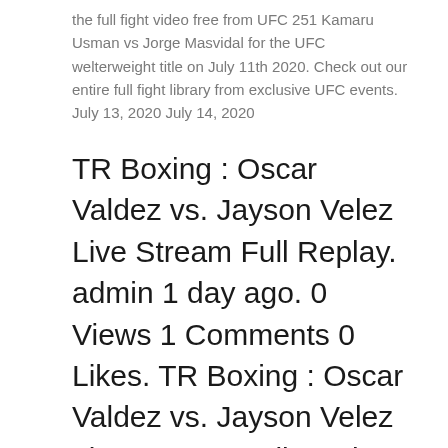the full fight video free from UFC 251 Kamaru Usman vs Jorge Masvidal for the UFC welterweight title on July 11th 2020. Check out our entire full fight library from exclusive UFC events. July 13, 2020 July 14, 2020
TR Boxing : Oscar Valdez vs. Jayson Velez Live Stream Full Replay. admin 1 day ago. 0 Views 1 Comments 0 Likes. TR Boxing : Oscar Valdez vs. Jayson Velez Live Stream Full Replay Online Top rank Boxing 21 July 2020 Free live stream Dailymotion HD Download Links HD Download Links SD TR Boxing : Oscar Valdez vs. Jay